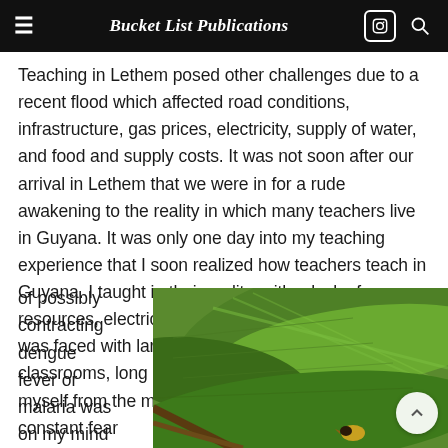Bucket List Publications
Teaching in Lethem posed other challenges due to a recent flood which affected road conditions, infrastructure, gas prices, electricity, supply of water, and food and supply costs. It was not soon after our arrival in Lethem that we were in for a rude awakening to the reality in which many teachers live in Guyana. It was only one day into my teaching experience that I soon realized how teachers teach in Guyana. I taught in their reality, with a lack of resources, electricity, running water, technology, and I was faced with large classes, cramp open-aired classrooms, long hot days, and trying to protect myself from the mosquitoes and cabora flies. The constant fear of possibly contracting dengue fever or malaria was on my mind
[Figure (photo): Close-up photo of large green tropical leaves, possibly banana leaves, with a small yellow and dark colored insect or bird visible at the bottom right.]